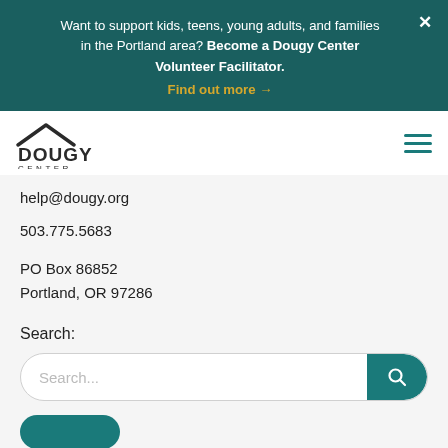Want to support kids, teens, young adults, and families in the Portland area? Become a Dougy Center Volunteer Facilitator.
Find out more →
[Figure (logo): Dougy Center logo with house roofline above text DOUGY CENTER]
help@dougy.org
503.775.5683
PO Box 86852
Portland, OR 97286
Search:
[Figure (screenshot): Search input bar with placeholder text 'Search...' and teal search button with magnifying glass icon]